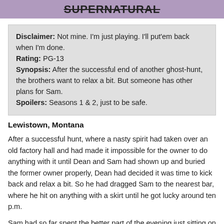SUPERNATURAL
Disclaimer: Not mine. I'm just playing. I'll put'em back when I'm done. Rating: PG-13 Synopsis: After the successful end of another ghost-hunt, the brothers want to relax a bit. But someone has other plans for Sam. Spoilers: Seasons 1 & 2, just to be safe.
Lewistown, Montana
After a successful hunt, where a nasty spirit had taken over an old factory hall and had made it impossible for the owner to do anything with it until Dean and Sam had shown up and buried the former owner properly, Dean had decided it was time to kick back and relax a bit. So he had dragged Sam to the nearest bar, where he hit on anything with a skirt until he got lucky around ten p.m.
Sam had so far spent the better part of the evening just sitting on his